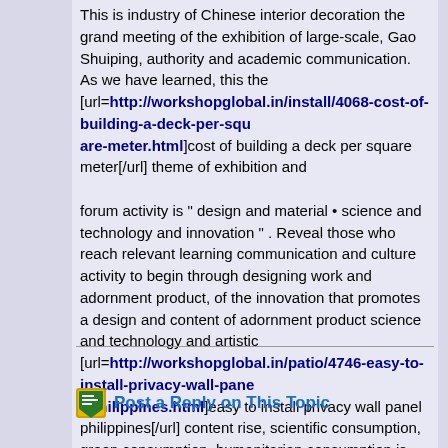This is industry of Chinese interior decoration the grand meeting of the exhibition of large-scale, Gao Shuiping, authority and academic communication. As we have learned, this the [url=http://workshopglobal.in/install/4068-cost-of-building-a-deck-per-square-meter.html]cost of building a deck per square meter[/url] theme of exhibition and

forum activity is " design and material • science and technology and innovation " . Reveal those who reach relevant learning communication and culture activity to begin through designing work and adornment product, of the innovation that promotes a design and content of adornment product science and technology and artistic [url=http://workshopglobal.in/patio/4746-easy-to-install-privacy-wall-panel-philippines.html]easy to install privacy wall panel philippines[/url] content rise, scientific consumption, green consumption, humanitarian consumption is advocated in
Post a Reply on This Topic